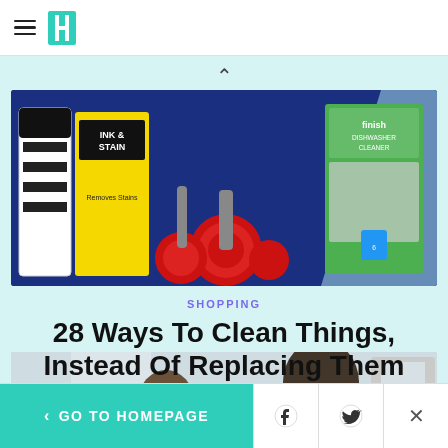HuffPost navigation header with hamburger menu and logo
[Figure (photo): Product photo showing cleaning products on a blue background: Amodex ink & stain remover bottle, Ink & Stain box, red drill brush set, and Finish dishwasher cleaner box]
SHOPPING
28 Ways To Clean Things, Instead Of Replacing Them
[Figure (photo): Photo showing two people (children) in a bright room, partially visible]
< GO TO HOMEPAGE | Facebook share | Twitter share | Close